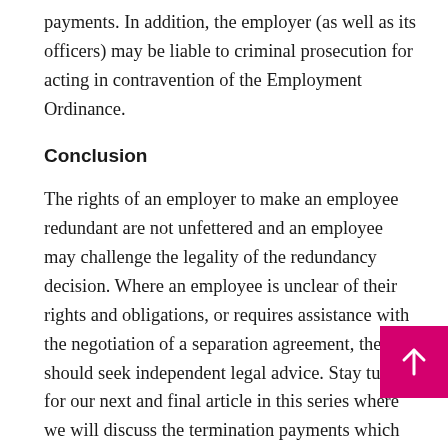payments. In addition, the employer (as well as its officers) may be liable to criminal prosecution for acting in contravention of the Employment Ordinance.
Conclusion
The rights of an employer to make an employee redundant are not unfettered and an employee may challenge the legality of the redundancy decision. Where an employee is unclear of their rights and obligations, or requires assistance with the negotiation of a separation agreement, they should seek independent legal advice. Stay tuned for our next and final article in this series where we will discuss the termination payments which are due to employees on redundancy.
Please do not hesitate to contact our Partner and Head the Employment Practice in Hong Kong, Andrea Randall (andrea.randall@rpc.com.hk / +852 2216 7208) for any